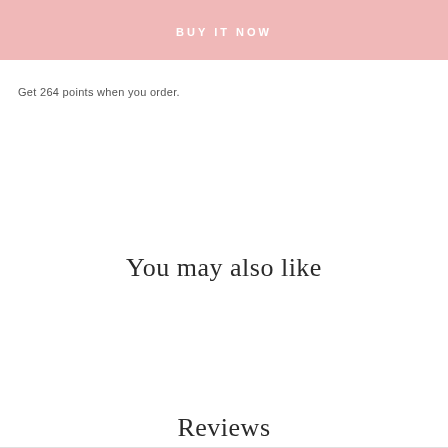BUY IT NOW
Get 264 points when you order.
You may also like
Reviews